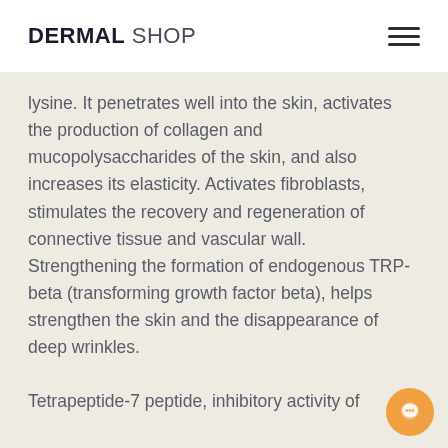DERMAL SHOP
lysine. It penetrates well into the skin, activates the production of collagen and mucopolysaccharides of the skin, and also increases its elasticity. Activates fibroblasts, stimulates the recovery and regeneration of connective tissue and vascular wall. Strengthening the formation of endogenous TRP-beta (transforming growth factor beta), helps strengthen the skin and the disappearance of deep wrinkles.

Tetrapeptide-7 peptide, inhibitory activity of
[Figure (other): Chat bubble icon in bottom right corner]